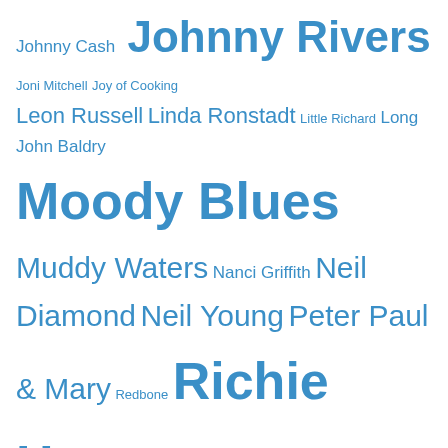Johnny Cash Johnny Rivers Joni Mitchell Joy of Cooking Leon Russell Linda Ronstadt Little Richard Long John Baldry Moody Blues Muddy Waters Nanci Griffith Neil Diamond Neil Young Peter Paul & Mary Redbone Richie Havens Rolling Stones Shawn Phillips Simon & Garfunkel Staple Singers Steely Dan Stephen Stills Temptations The Band Three Dog Night Tower of Power Van Morrison Wilson Pickett
Categories
Archives